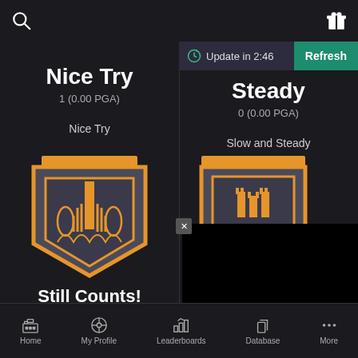[Figure (screenshot): Mobile app screenshot showing achievements: Nice Try (1, 0.00 PGA), Slow and Steady (0, 0.00 PGA), Still Counts! (1, 0.00 PGA), with update timer and bottom navigation bar]
Nice Try
1 (0.00 PGA)
Nice Try
Update in 2:46
Refresh
Steady
0 (0.00 PGA)
Slow and Steady
Still Counts!
1 (0.00 PGA)
Still Counts!
Home  My Profile  Leaderboards  Database  More